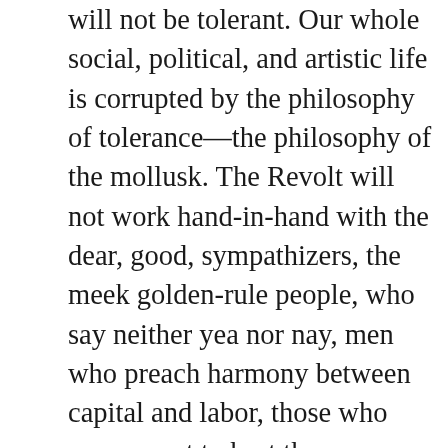will not be tolerant. Our whole social, political, and artistic life is corrupted by the philosophy of tolerance—the philosophy of the mollusk. The Revolt will not work hand-in-hand with the dear, good, sympathizers, the meek golden-rule people, who say neither yea nor nay, men who preach harmony between capital and labor, those who never want to hurt the enemy. The Revolt will have little sympathy with the man of common sense. Common sense is a good quality for a horse